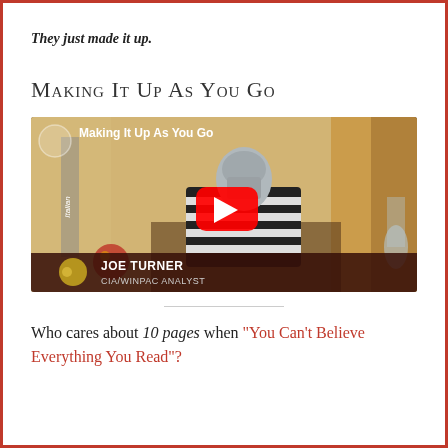They just made it up.
Making It Up As You Go
[Figure (screenshot): YouTube video thumbnail showing a person in a black-and-white striped outfit with a silver mask, seated at a desk. Title reads 'Making It Up As You Go'. Lower-third graphic shows 'JOE TURNER CIA/WINPAC ANALYST'. Red YouTube play button in center.]
Who cares about 10 pages when "You Can't Believe Everything You Read"?